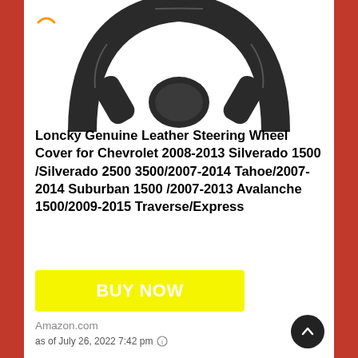[Figure (photo): Partial view of a black leather steering wheel cover from Loncky, showing the top portion of the steering wheel with three spokes against a white background. Amazon smile logo arc visible at top left.]
Loncky Genuine Leather Steering Wheel Cover for Chevrolet 2008-2013 Silverado 1500 /Silverado 2500 3500/2007-2014 Tahoe/2007-2014 Suburban 1500 /2007-2013 Avalanche 1500/2009-2015 Traverse/Express
BUY NOW
Amazon.com
as of July 26, 2022 7:42 pm